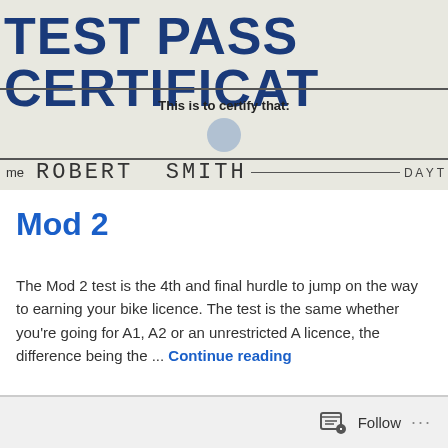[Figure (photo): Photograph of a Test Pass Certificate showing the text 'TEST PASS CERTIFICAT...' at the top in large blue letters, with 'This is to certify that:' below a horizontal line, a circular seal/stamp, and a handwritten name 'ROBERT SMITH' on the name line.]
Mod 2
The Mod 2 test is the 4th and final hurdle to jump on the way to earning your bike licence. The test is the same whether you're going for A1, A2 or an unrestricted A licence, the difference being the ... Continue reading
Follow ...